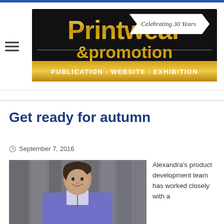[Figure (logo): Printwear & promotion magazine logo with 'Celebrating 30 Years' ribbon, black background, gold text, subtitle: PUBLICATION · WEBSITE · EXHIBITION]
Get ready for autumn
September 7, 2016
[Figure (photo): Woman smiling wearing a purple zip-up fleece jacket, standing outdoors]
Alexandra's product development team has worked closely with a